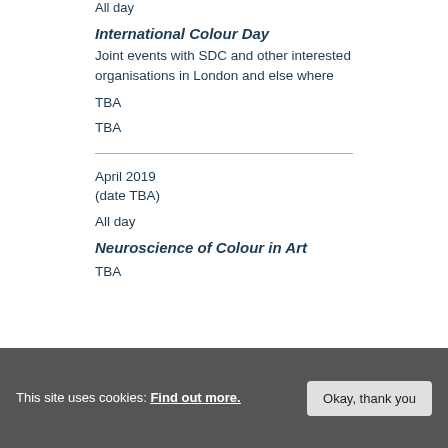All day
International Colour Day
Joint events with SDC and other interested organisations in London and else where
TBA
TBA
April 2019
(date TBA)
All day
Neuroscience of Colour in Art
TBA
This site uses cookies: Find out more.